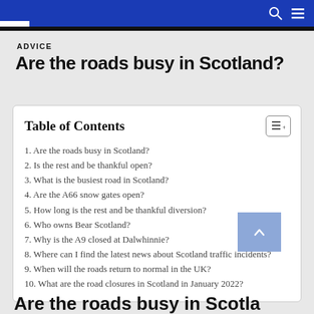ADVICE
Are the roads busy in Scotland?
Table of Contents
1. Are the roads busy in Scotland?
2. Is the rest and be thankful open?
3. What is the busiest road in Scotland?
4. Are the A66 snow gates open?
5. How long is the rest and be thankful diversion?
6. Who owns Bear Scotland?
7. Why is the A9 closed at Dalwhinnie?
8. Where can I find the latest news about Scotland traffic incidents?
9. When will the roads return to normal in the UK?
10. What are the road closures in Scotland in January 2022?
Are the roads busy in Scotland?